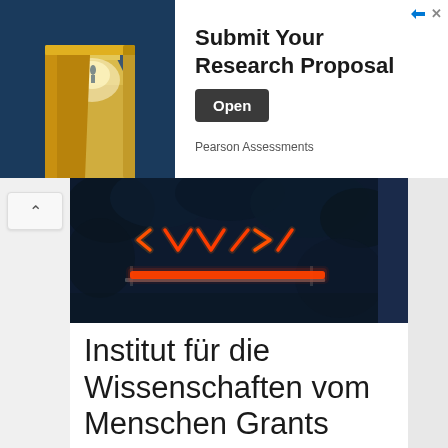[Figure (infographic): Advertisement banner with dark blue background. Left side shows an illustration of an open yellow door with light beyond it. Right side contains ad text: 'Submit Your Research Proposal' with an 'Open' button and 'Pearson Assessments' sponsor text. Top right corner shows ad icons.]
[Figure (photo): Dark blue-toned photograph showing a neon light sign with red/orange arrow and chevron shapes, set against a blurry dark background of tree branches.]
Institut für die Wissenschaften vom Menschen Grants 2022 for Professionals